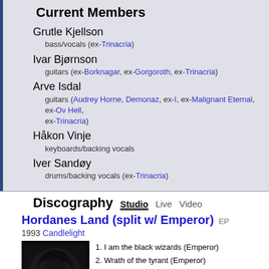Current Members
Grutle Kjellson
bass/vocals (ex-Trinacria)
Ivar Bjørnson
guitars (ex-Borknagar, ex-Gorgoroth, ex-Trinacria)
Arve Isdal
guitars (Audrey Horne, Demonaz, ex-I, ex-Malignant Eternal, ex-Ov Hell, ex-Trinacria)
Håkon Vinje
keyboards/backing vocals
Iver Sandøy
drums/backing vocals (ex-Trinacria)
Discography  Studio  Live  Video
Hordanes Land (split w/ Emperor) EP
1993 Candlelight
[Figure (photo): Album cover art for Hordanes Land, dark black and white image]
1. I am the black wizards (Emperor)
2. Wrath of the tyrant (Emperor)
3. Night of the graveless souls (Emperor)
4. Cosmic keys to my creation & times (Emperor)
5. Slaget I kogen bortenfor
6. -Epilog
7. Slaget